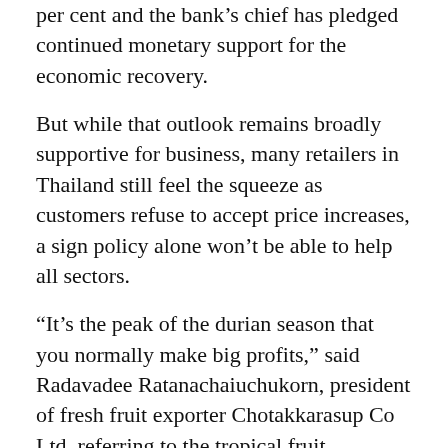per cent and the bank's chief has pledged continued monetary support for the economic recovery.
But while that outlook remains broadly supportive for business, many retailers in Thailand still feel the squeeze as customers refuse to accept price increases, a sign policy alone won't be able to help all sectors.
“It’s the peak of the durian season that you normally make big profits,” said Radavadee Ratanachaiuchukorn, president of fresh fruit exporter Chotakkarasup Co Ltd, referring to the tropical fruit.
“But because of higher costs, we hardly get a profit margin. This really hurts us… For new orders, we will have to increase the prices or we can’t survive.”